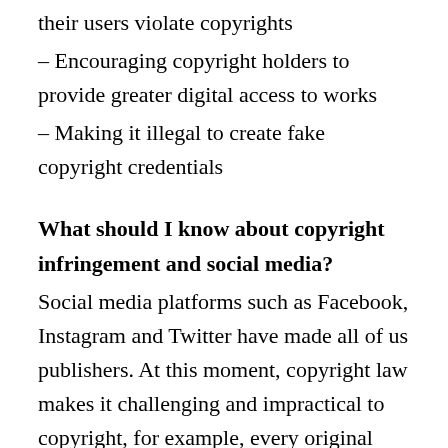their users violate copyrights
– Encouraging copyright holders to provide greater digital access to works
– Making it illegal to create fake copyright credentials
What should I know about copyright infringement and social media?
Social media platforms such as Facebook, Instagram and Twitter have made all of us publishers. At this moment, copyright law makes it challenging and impractical to copyright, for example, every original tweet or Facebook post. Terms and conditions that